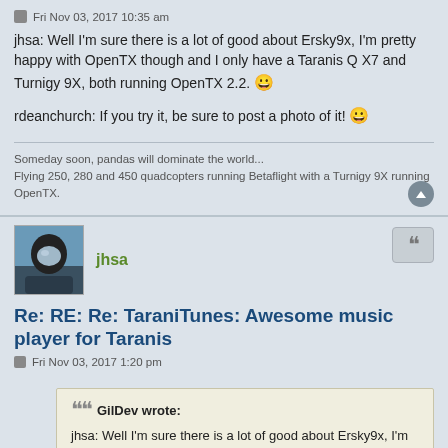Fri Nov 03, 2017 10:35 am
jhsa: Well I'm sure there is a lot of good about Ersky9x, I'm pretty happy with OpenTX though and I only have a Taranis Q X7 and Turnigy 9X, both running OpenTX 2.2. 😀
rdeanchurch: If you try it, be sure to post a photo of it! 😀
Someday soon, pandas will dominate the world...
Flying 250, 280 and 450 quadcopters running Betaflight with a Turnigy 9X running OpenTX.
jhsa
Re: RE: Re: TaraniTunes: Awesome music player for Taranis
Fri Nov 03, 2017 1:20 pm
GilDev wrote:
jhsa: Well I'm sure there is a lot of good about Ersky9x, I'm pretty happy with OpenTX though and I only have a Taranis Q X7 and Turnigy 9X, both running OpenTX 2.2.